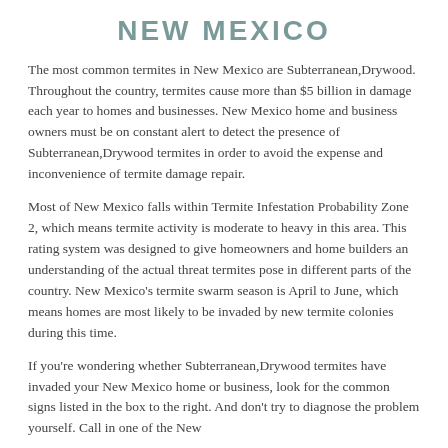NEW MEXICO
The most common termites in New Mexico are Subterranean,Drywood. Throughout the country, termites cause more than $5 billion in damage each year to homes and businesses. New Mexico home and business owners must be on constant alert to detect the presence of Subterranean,Drywood termites in order to avoid the expense and inconvenience of termite damage repair.
Most of New Mexico falls within Termite Infestation Probability Zone 2, which means termite activity is moderate to heavy in this area. This rating system was designed to give homeowners and home builders an understanding of the actual threat termites pose in different parts of the country. New Mexico's termite swarm season is April to June, which means homes are most likely to be invaded by new termite colonies during this time.
If you're wondering whether Subterranean,Drywood termites have invaded your New Mexico home or business, look for the common signs listed in the box to the right. And don't try to diagnose the problem yourself. Call in one of the New